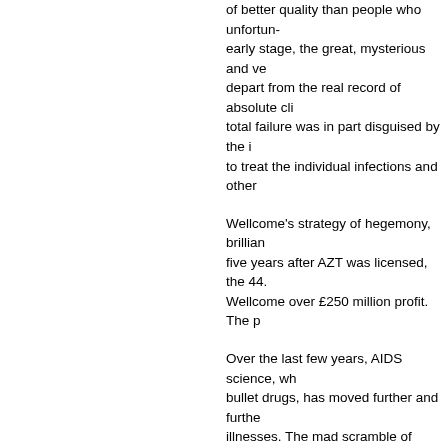of better quality than people who unfortunately early stage, the great, mysterious and ve depart from the real record of absolute cli total failure was in part disguised by the i to treat the individual infections and other
Wellcome's strategy of hegemony, brilliar five years after AZT was licensed, the 44. Wellcome over £250 million profit. The p
Over the last few years, AIDS science, wh bullet drugs, has moved further and furthe illnesses. The mad scramble of science t meaning to the old axiom, 'The operation scientists are now openly declaring that c their work. To protect their authority, they themselves, and within this wall its practiti have come to develop their own inner log
To people knowledgeable about AIDS bu scientists are slipping deeper into some k statements by scientists take on the mea which are nonsensical to those outside A work it's because the virus is very intellig pathogenic' or 'Protease inhibitors mean
At some point early on in the bang of big theorising it became impossible to readd was not only the plausibility of science am continuing production and the profitability factors which pushed the handcart of ea